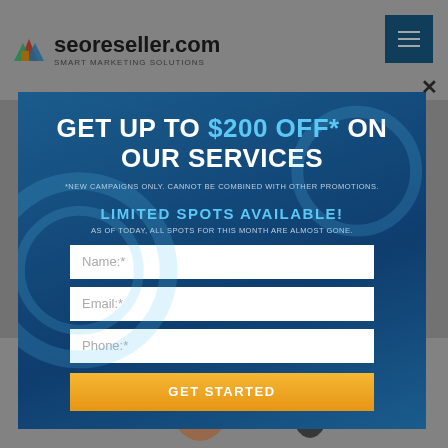[Figure (screenshot): seoreseller.com website header with logo and hamburger menu button]
GET UP TO $200 OFF* ON OUR SERVICES
*NEW CAMPAIGNS ONLY. CANNOT BE COMBINED WITH OTHER PROMOTIONS.
LIMITED SPOTS AVAILABLE!
AS OF TODAY, ALL SPOTS FOR THIS MONTH ARE ALMOST GONE.
[Figure (screenshot): Contact form with Name, Email, Phone fields and GET STARTED button]